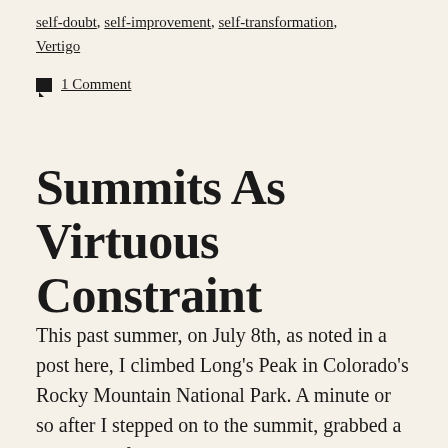self-doubt, self-improvement, self-transformation, Vertigo
1 Comment
Summits As Virtuous Constraint
This past summer, on July 8th, as noted in a post here, I climbed Long's Peak in Colorado's Rocky Mountain National Park. A minute or so after I stepped on to the summit, grabbed a quick sip of water, and removed my helmet, I shook my guide Rob Smith's hand, and thanked him profusely. I